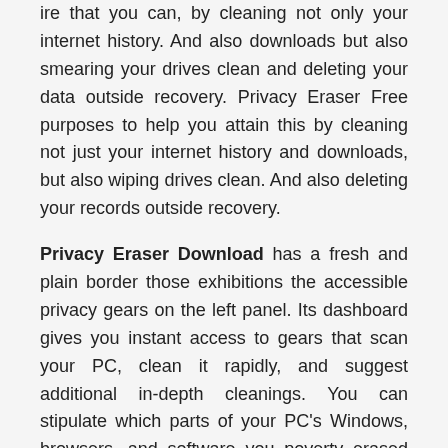ire that you can, by cleaning not only your internet history. And also downloads but also smearing your drives clean and deleting your data outside recovery. Privacy Eraser Free purposes to help you attain this by cleaning not just your internet history and downloads, but also wiping drives clean. And also deleting your records outside recovery.
Privacy Eraser Download has a fresh and plain border those exhibitions the accessible privacy gears on the left panel. Its dashboard gives you instant access to gears that scan your PC, clean it rapidly, and suggest additional in-depth cleanings. You can stipulate which parts of your PC's Windows, browsers, and software you poverty erased using the gears. It also has a removable media wiper and files shredder recorded on its panel for easy admission.